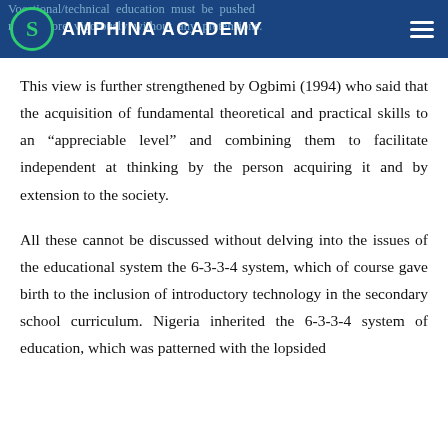Vocational/technical education must be pushed much more vigorously without any pretensions. AMPHINA ACADEMY
This view is further strengthened by Ogbimi (1994) who said that the acquisition of fundamental theoretical and practical skills to an “appreciable level” and combining them to facilitate independent at thinking by the person acquiring it and by extension to the society.
All these cannot be discussed without delving into the issues of the educational system the 6-3-3-4 system, which of course gave birth to the inclusion of introductory technology in the secondary school curriculum. Nigeria inherited the 6-3-3-4 system of education, which was patterned with the lopsided